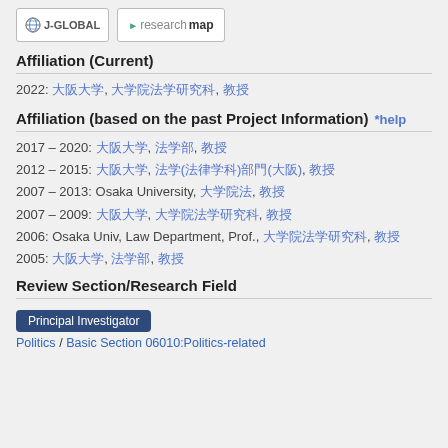[Figure (logo): J-GLOBAL logo button and researchmap logo button]
Affiliation (Current)
2022: [Japanese text], [Japanese text], [Japanese text]
Affiliation (based on the past Project Information) *help
2017 – 2020: [Japanese], [Japanese], [Japanese]
2012 – 2015: [Japanese], [Japanese], [Japanese]
2007 – 2013: Osaka University, [Japanese], [Japanese]
2007 – 2009: [Japanese], [Japanese], [Japanese]
2006: Osaka Univ, Law Department, Prof., [Japanese], [Japanese]
2005: [Japanese], [Japanese], [Japanese]
Review Section/Research Field
Principal Investigator
Politics / Basic Section 06010:Politics-related